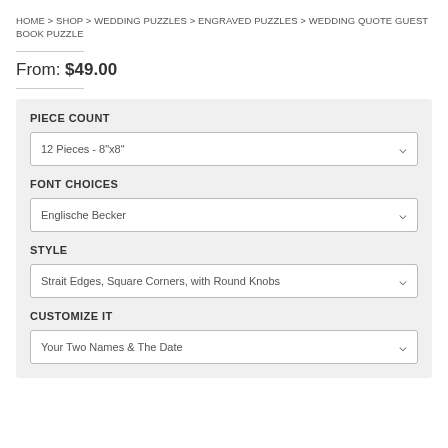HOME > SHOP > WEDDING PUZZLES > ENGRAVED PUZZLES > WEDDING QUOTE GUEST BOOK PUZZLE
From: $49.00
PIECE COUNT
12 Pieces - 8"x8"
FONT CHOICES
Englische Becker
STYLE
Strait Edges, Square Corners, with Round Knobs
CUSTOMIZE IT
Your Two Names & The Date